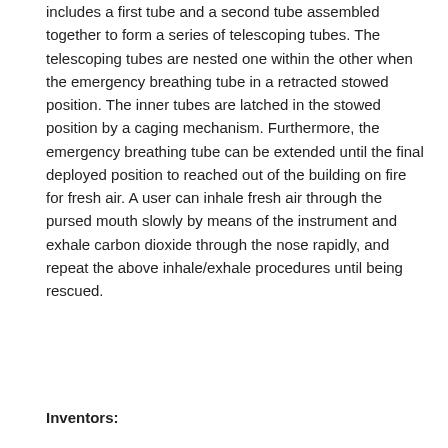includes a first tube and a second tube assembled together to form a series of telescoping tubes. The telescoping tubes are nested one within the other when the emergency breathing tube in a retracted stowed position. The inner tubes are latched in the stowed position by a caging mechanism. Furthermore, the emergency breathing tube can be extended until the final deployed position to reached out of the building on fire for fresh air. A user can inhale fresh air through the pursed mouth slowly by means of the instrument and exhale carbon dioxide through the nose rapidly, and repeat the above inhale/exhale procedures until being rescued.
Inventors: